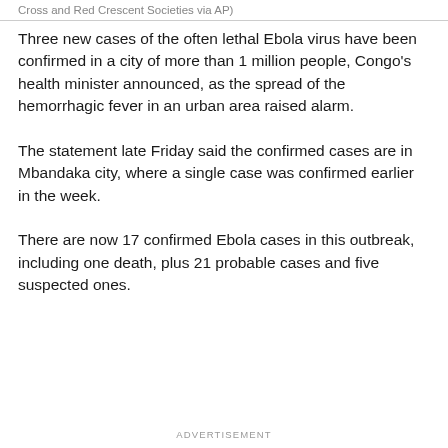Cross and Red Crescent Societies via AP)
Three new cases of the often lethal Ebola virus have been confirmed in a city of more than 1 million people, Congo's health minister announced, as the spread of the hemorrhagic fever in an urban area raised alarm.
The statement late Friday said the confirmed cases are in Mbandaka city, where a single case was confirmed earlier in the week.
There are now 17 confirmed Ebola cases in this outbreak, including one death, plus 21 probable cases and five suspected ones.
ADVERTISEMENT